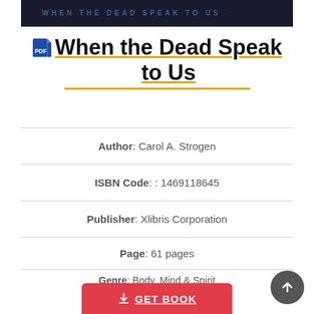[Figure (photo): Book cover image cropped at top, dark background with blue text]
When the Dead Speak to Us
Author: Carol A. Strogen
ISBN Code: : 1469118645
Publisher : Xlibris Corporation
Page : 61 pages
Genre : Body, Mind & Spirit
Reviews : 490 Readers